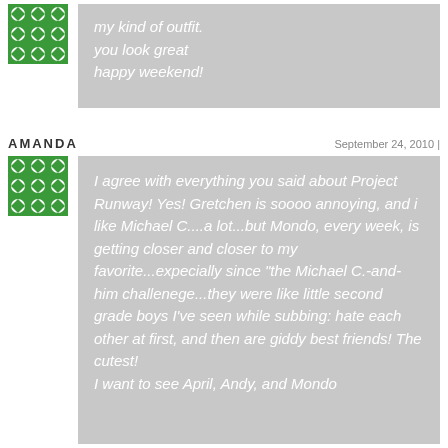[Figure (illustration): Green decorative tile pattern avatar for first comment]
my kind of outfit. you look great happy weekend!
AMANDA
September 24, 2010 |
[Figure (illustration): Green decorative tile pattern avatar for Amanda]
I agree with everything you said about Project Runway! Yes! Gretchen is soooo annoying, and i like Michael C....a lot...but Mondo, every week, is getting closer and closer to my favorite...expecially since "the Michael C.-and-him challenege...they were like little second grade boys I've seen while subbing: hate each other at first, and then are giddy best friends! The cutest! I want to see April, Andy, and Mondo